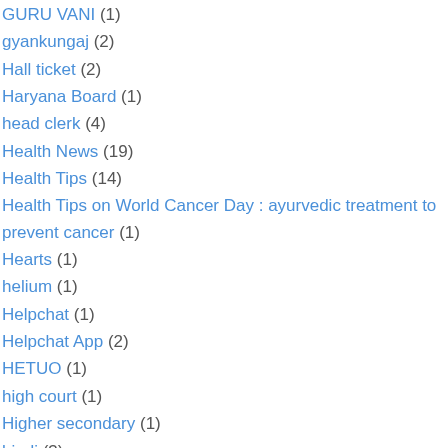GURU VANI (1)
gyankungaj (2)
Hall ticket (2)
Haryana Board (1)
head clerk (4)
Health News (19)
Health Tips (14)
Health Tips on World Cancer Day : ayurvedic treatment to prevent cancer (1)
Hearts (1)
helium (1)
Helpchat (1)
Helpchat App (2)
HETUO (1)
high court (1)
Higher secondary (1)
hindi (3)
History (1)
Home (1)